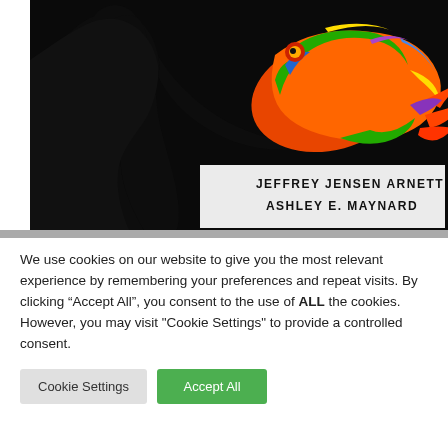[Figure (illustration): Book cover showing a black silhouette of a person looking at a colorful frog perched on their hand/finger, with author names JEFFREY JENSEN ARNETT and ASHLEY E. MAYNARD in bold text on the lower right of the cover.]
We use cookies on our website to give you the most relevant experience by remembering your preferences and repeat visits. By clicking "Accept All", you consent to the use of ALL the cookies. However, you may visit "Cookie Settings" to provide a controlled consent.